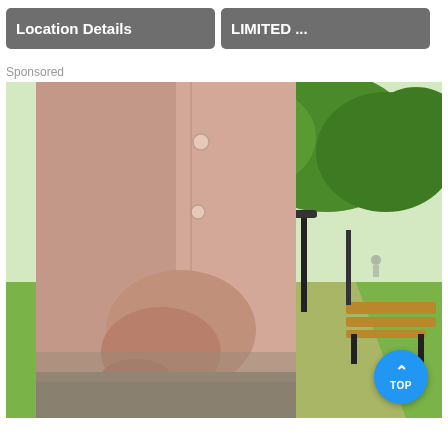[Figure (screenshot): Two navigation buttons at top: 'Location Details' (grey rounded button, left) and 'LIMITED ...' (grey rounded button, right)]
Sponsored
[Figure (photo): Sponsored advertisement photo showing an older person in a pink/beige cardigan holding their lower back/side while standing in a park. Green trees and a bench are visible in the blurred background. A blue circular 'TOP' button is overlaid in the bottom-right corner.]